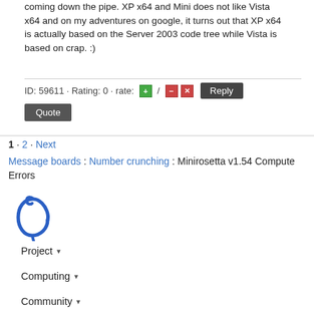coming down the pipe. XP x64 and Mini does not like Vista x64 and on my adventures on google, it turns out that XP x64 is actually based on the Server 2003 code tree while Vista is based on crap. :)
ID: 59611 · Rating: 0 · rate: [+] / [-][x]   Reply
Quote
1 · 2 · Next
Message boards : Number crunching : Minirosetta v1.54 Compute Errors
[Figure (logo): BOINC logo mark in blue]
Project ▾
Computing ▾
Community ▾